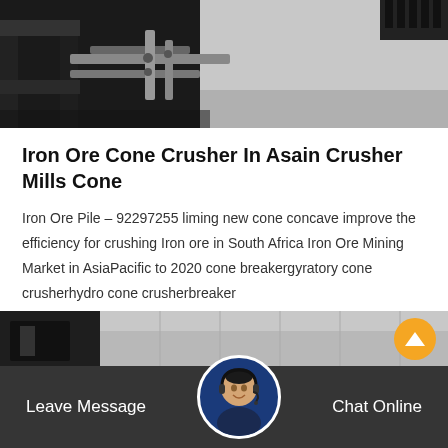[Figure (photo): Industrial machinery / iron ore crusher equipment, dark metal frame with pipes and mechanical components, close-up industrial photo]
Iron Ore Cone Crusher In Asain Crusher Mills Cone
Iron Ore Pile – 92297255 liming new cone concave improve the efficiency for crushing Iron ore in South Africa Iron Ore Mining Market in AsiaPacific to 2020 cone breakergyratory cone crusherhydro cone crusherbreaker
[Figure (other): Get Price button — amber/orange rounded rectangle button with italic bold white text]
[Figure (photo): Industrial building interior background photo with customer service agent avatar circle and Leave Message / Chat Online footer bar]